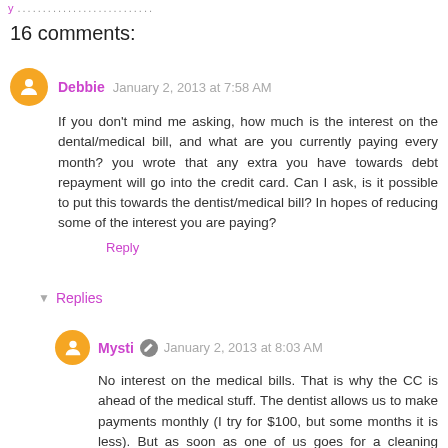y ............................
16 comments:
Debbie January 2, 2013 at 7:58 AM
If you don't mind me asking, how much is the interest on the dental/medical bill, and what are you currently paying every month? you wrote that any extra you have towards debt repayment will go into the credit card. Can I ask, is it possible to put this towards the dentist/medical bill? In hopes of reducing some of the interest you are paying?
Reply
Replies
Mysti January 2, 2013 at 8:03 AM
No interest on the medical bills. That is why the CC is ahead of the medical stuff. The dentist allows us to make payments monthly (I try for $100, but some months it is less). But as soon as one of us goes for a cleaning (which I tend to